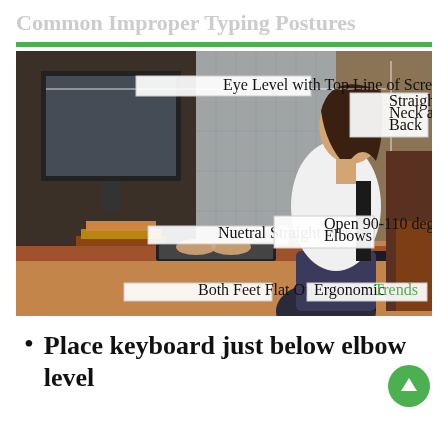Common Improper Typing Postures
[Figure (photo): A person sitting at a desk typing on a keyboard, viewed from the side. The image has annotation labels pointing to: Eye Level with Top Line of Screen, Straight Neck and Back, Nuetral Straight Wrists, Open 90-110 degree Elbows, Both Feet Flat On Floor. Branded with 'Ergonomic Trends' in bottom right corner.]
Place keyboard just below elbow level